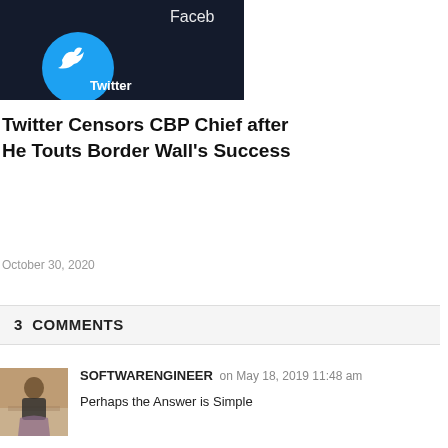[Figure (photo): Screenshot of smartphone showing Twitter app icon with Facebook partially visible in corner]
Twitter Censors CBP Chief after He Touts Border Wall's Success
October 30, 2020
3 COMMENTS
[Figure (photo): Avatar photo of commenter SOFTWARENGINEER - person in kitchen]
SOFTWARENGINEER  on May 18, 2019 11:48 am
Perhaps the Answer is Simple
Fly 'em All Back to Central America Instead...use AF fighter aircraft support in case the Communists there try to shoot our planes down...